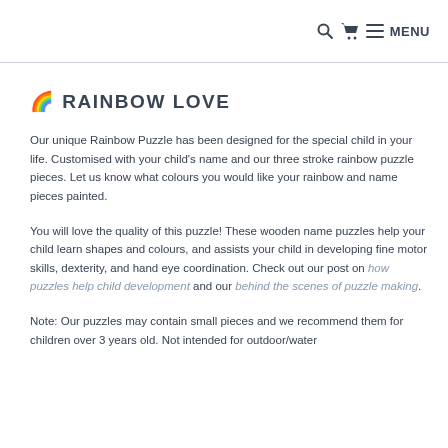🔍 🛒 ☰ MENU
🌈 RAINBOW LOVE
Our unique Rainbow Puzzle has been designed for the special child in your life. Customised with your child's name and our three stroke rainbow puzzle pieces. Let us know what colours you would like your rainbow and name pieces painted.
You will love the quality of this puzzle! These wooden name puzzles help your child learn shapes and colours, and assists your child in developing fine motor skills, dexterity, and hand eye coordination. Check out our post on how puzzles help child development and our behind the scenes of puzzle making.
Note: Our puzzles may contain small pieces and we recommend them for children over 3 years old. Not intended for outdoor/water